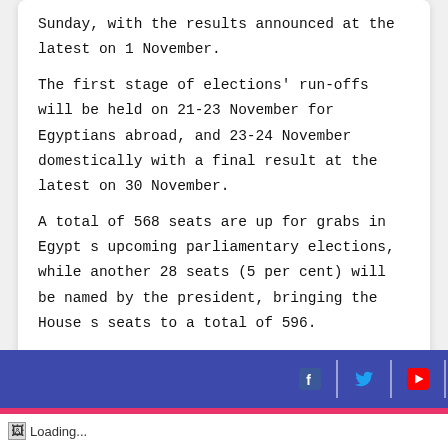Sunday, with the results announced at the latest on 1 November.
The first stage of elections' run-offs will be held on 21-23 November for Egyptians abroad, and 23-24 November domestically with a final result at the latest on 30 November.
A total of 568 seats are up for grabs in Egypt s upcoming parliamentary elections, while another 28 seats (5 per cent) will be named by the president, bringing the House s seats to a total of 596.
[Figure (other): Website footer bar with social media icons: Facebook (f), Twitter (bird), YouTube (play button), separated by vertical dividers, on a dark blue/indigo background with a pink horizontal stripe below.]
Loading...